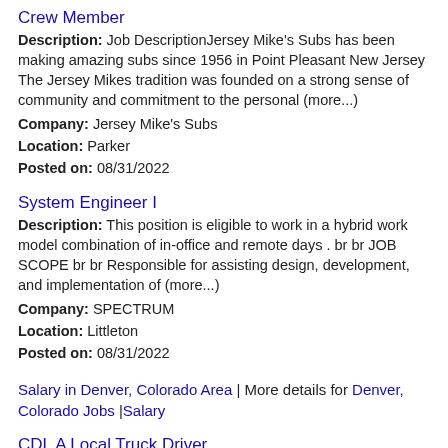Crew Member
Description: Job DescriptionJersey Mike's Subs has been making amazing subs since 1956 in Point Pleasant New Jersey The Jersey Mikes tradition was founded on a strong sense of community and commitment to the personal (more...)
Company: Jersey Mike's Subs
Location: Parker
Posted on: 08/31/2022
System Engineer I
Description: This position is eligible to work in a hybrid work model combination of in-office and remote days . br br JOB SCOPE br br Responsible for assisting design, development, and implementation of (more...)
Company: SPECTRUM
Location: Littleton
Posted on: 08/31/2022
Salary in Denver, Colorado Area | More details for Denver, Colorado Jobs |Salary
CDL A Local Truck Driver
Description: Call 844-695-7984 to learn more about our open opportuniti...